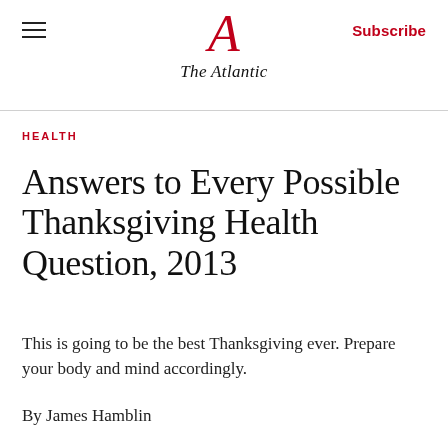The Atlantic — Subscribe
HEALTH
Answers to Every Possible Thanksgiving Health Question, 2013
This is going to be the best Thanksgiving ever. Prepare your body and mind accordingly.
By James Hamblin